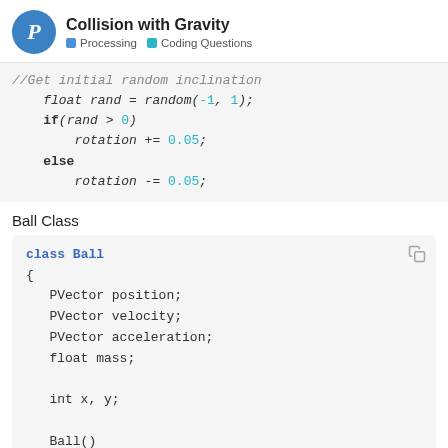Collision with Gravity | Processing | Coding Questions
//Get initial random inclination
    float rand = random(-1, 1);
    if(rand > 0)
        rotation += 0.05;
    else
        rotation -= 0.05;
Ball Class
class Ball
{
   PVector position;
   PVector velocity;
   PVector acceleration;
   float mass;

   int x, y;

   Ball()